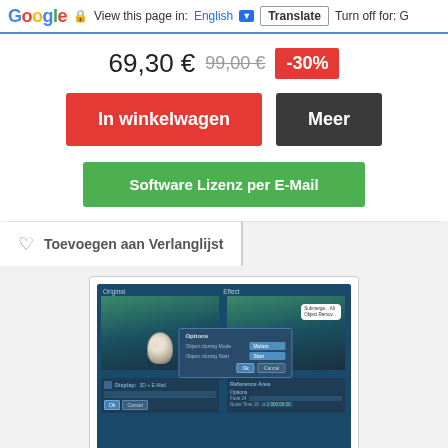Google  View this page in: English [▼] Translate  Turn off for: G
69,30 € 99,00 € -30%
In winkelwagen
Meer
Software Lizenz per E-Mail
♡  Toevoegen aan Verlanglijst
[Figure (screenshot): Screenshot of a software application showing two panels with underwater diver images (Original and Effect), an Options dialog with Object cloning Mode and Object cloning Start settings, OK and Cancel buttons, and a bottom panel with overlay options and reference area settings.]